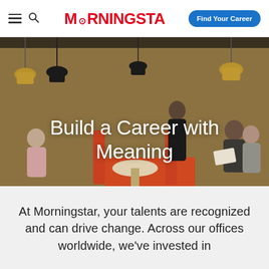Morningstar – Find Your Career
[Figure (photo): Office café scene with people seated at booths with orange upholstered backs, pendant lights hanging from ceiling, wooden walls. A woman stands talking to a seated man reading a magazine.]
Build a Career with Meaning
At Morningstar, your talents are recognized and can drive change. Across our offices worldwide, we've invested in